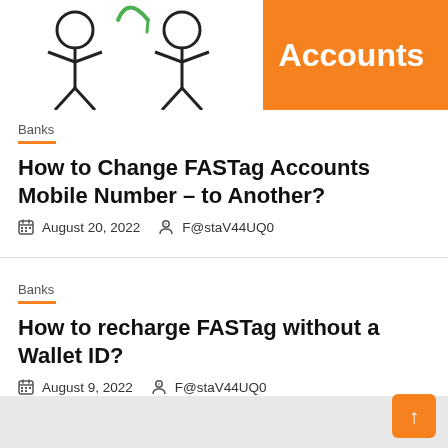[Figure (illustration): Top banner showing icons and an orange section with the word 'Accounts' in white bold text]
Banks
How to Change FASTag Accounts Mobile Number – to Another?
August 20, 2022   F@staV44UQ0
Banks
How to recharge FASTag without a Wallet ID?
August 9, 2022   F@staV44UQ0